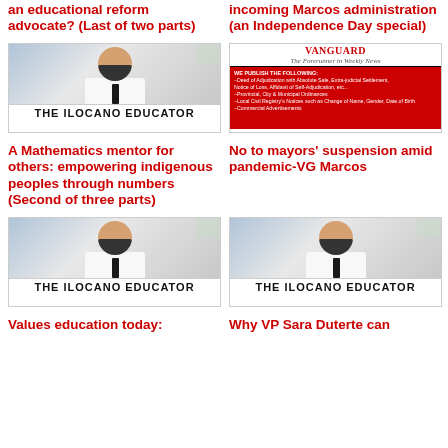an educational reform advocate? (Last of two parts)
incoming Marcos administration (an Independence Day special)
[Figure (photo): The Ilocano Educator card showing a man in white shirt and tie with THE ILOCANO EDUCATOR banner]
[Figure (photo): Vanguard weekly newspaper card with red background listing published content types]
A Mathematics mentor for others: empowering indigenous peoples through numbers (Second of three parts)
No to mayors' suspension amid pandemic-VG Marcos
[Figure (photo): The Ilocano Educator card showing a man in white shirt and tie with THE ILOCANO EDUCATOR banner]
[Figure (photo): The Ilocano Educator card showing a man in white shirt and tie with THE ILOCANO EDUCATOR banner]
Values education today:
Why VP Sara Duterte can